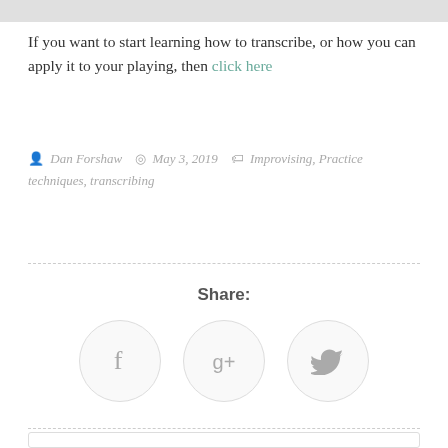If you want to start learning how to transcribe, or how you can apply it to your playing, then click here
Dan Forshaw   May 3, 2019   Improvising, Practice techniques, transcribing
Share:
[Figure (infographic): Three social media share buttons in circles: Facebook (f), Google+ (g+), and Twitter (bird icon)]